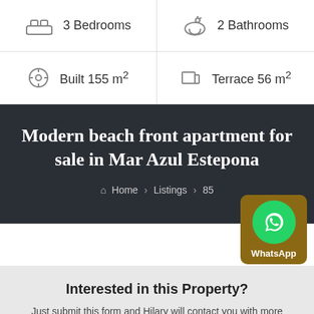3 Bedrooms
2 Bathrooms
Built 155 m²
Terrace 56 m²
Modern beach front apartment for sale in Mar Azul Estepona
Home > Listings > 85
[Figure (logo): WhatsApp button with green circle phone icon and brown background]
Interested in this Property?
Just submit this form and Hilary will contact you with more info.